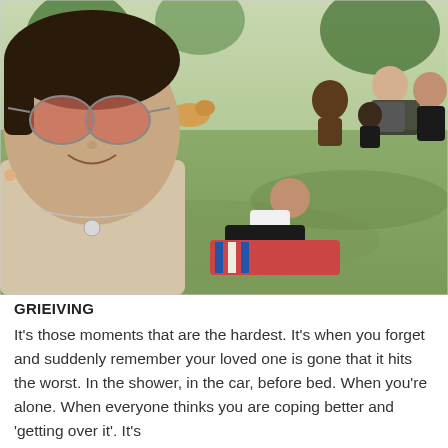[Figure (photo): A group of women having a picnic on grass in a park. In the foreground is a woman taking a selfie wearing rose-tinted heart-shaped sunglasses and a necklace. Behind her, several women are sitting on blankets and chairs on a grassy slope.]
GRIEIVING
It’s those moments that are the hardest. It’s when you forget and suddenly remember your loved one is gone that it hits the worst. In the shower, in the car, before bed. When you’re alone. When everyone thinks you are coping better and ‘getting over it’. It’s